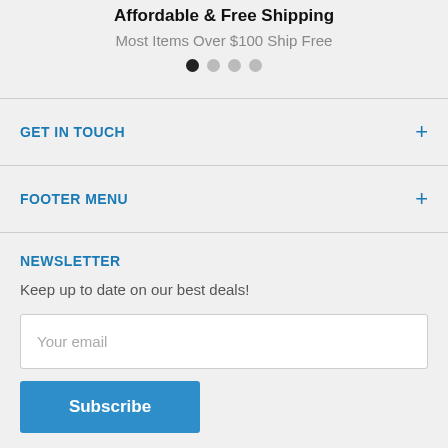Affordable & Free Shipping
Most Items Over $100 Ship Free
GET IN TOUCH
FOOTER MENU
NEWSLETTER
Keep up to date on our best deals!
Your email
Subscribe